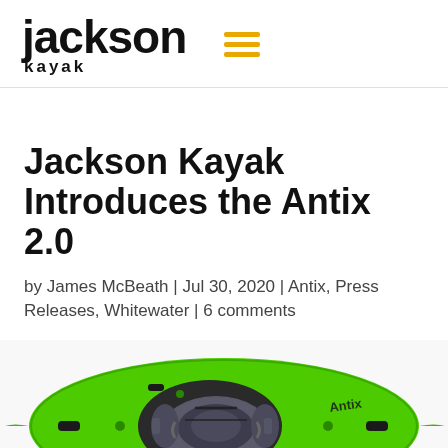Jackson Kayak
Jackson Kayak Introduces the Antix 2.0
by James McBeath | Jul 30, 2020 | Antix, Press Releases, Whitewater | 6 comments
[Figure (photo): Top-down view of a bright green Jackson Antix 2.0 whitewater kayak with grey seat and interior, on a white background. The kayak has handles on both sides and the Antix logo visible on the right side.]